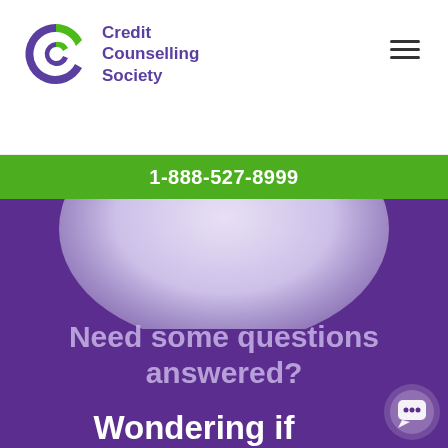Credit Counselling Society
1-888-527-8999
[Figure (illustration): Decorative oval/circle shape at the top of the purple section, light lavender gradient]
Need some questions answered?
Wondering if bankruptcy is for you.